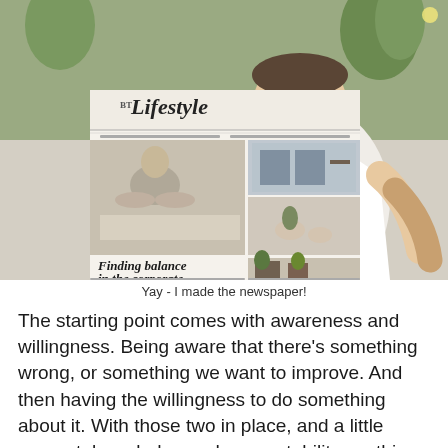[Figure (photo): A smiling man in a white Lacoste polo shirt holding up a copy of BT Lifestyle newspaper. The newspaper front page shows 'Finding balance in the corporate world' with a photo of a man meditating in lotus position. The background shows a cafe/restaurant setting with plants.]
Yay - I made the newspaper!
The starting point comes with awareness and willingness. Being aware that there's something wrong, or something we want to improve. And then having the willingness to do something about it. With those two in place, and a little support, knowledge and accountability anything is possible